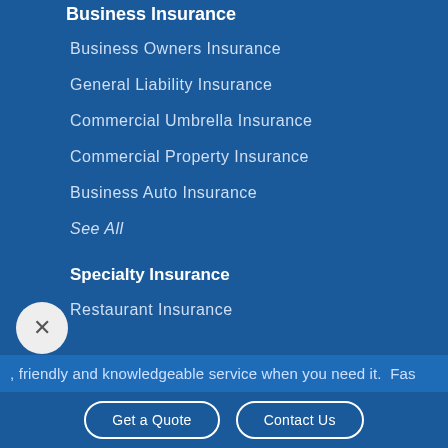Business Insurance
Business Owners Insurance
General Liability Insurance
Commercial Umbrella Insurance
Commercial Property Insurance
Business Auto Insurance
See All
Specialty Insurance
Restaurant Insurance
, friendly and knowledgeable service when you need it.  Fas
Get a Quote
Contact Us